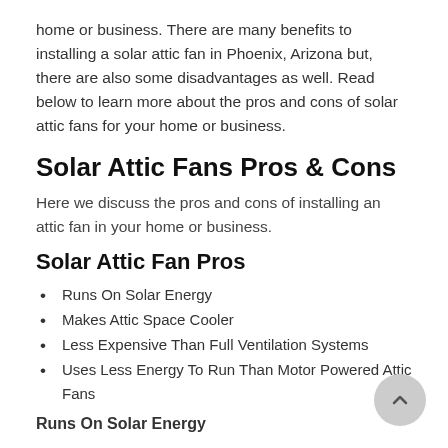home or business. There are many benefits to installing a solar attic fan in Phoenix, Arizona but, there are also some disadvantages as well. Read below to learn more about the pros and cons of solar attic fans for your home or business.
Solar Attic Fans Pros & Cons
Here we discuss the pros and cons of installing an attic fan in your home or business.
Solar Attic Fan Pros
Runs On Solar Energy
Makes Attic Space Cooler
Less Expensive Than Full Ventilation Systems
Uses Less Energy To Run Than Motor Powered Attic Fans
Runs On Solar Energy